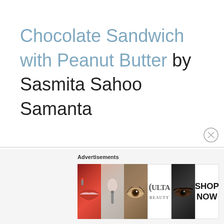Chocolate Sandwich with Peanut Butter by Sasmita Sahoo Samanta
Do checkout above links too for exotic varieties of Sandwiches.
[Figure (other): Advertisement banner for ULTA beauty products showing makeup images including lips, brush, eye, ULTA logo, smoky eye, and SHOP NOW button]